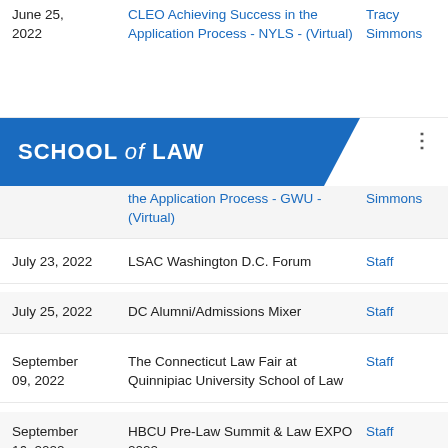| Date | Event | Presenter |
| --- | --- | --- |
| June 25, 2022 | CLEO Achieving Success in the Application Process - NYLS - (Virtual) | Tracy Simmons |
|  | the Application Process - GWU - (Virtual) | Simmons |
| July 23, 2022 | LSAC Washington D.C. Forum | Staff |
| July 25, 2022 | DC Alumni/Admissions Mixer | Staff |
| September 09, 2022 | The Connecticut Law Fair at Quinnipiac University School of Law | Staff |
| September 16, 2022 | HBCU Pre-Law Summit & Law EXPO 2022 | Staff |
| September | 9th ANNUAL NATIONAL HBCU | Staff |